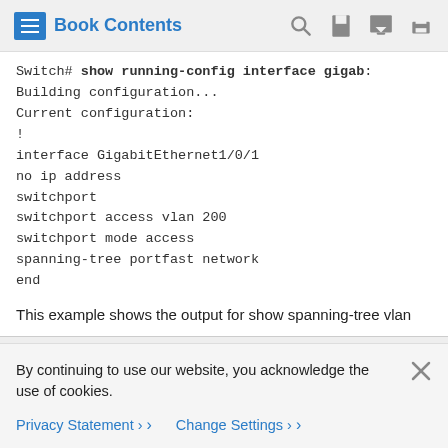Book Contents
Switch# show running-config interface gigab...
Building configuration...
Current configuration:
!
interface GigabitEthernet1/0/1
no ip address
switchport
switchport access vlan 200
switchport mode access
spanning-tree portfast network
end
This example shows the output for show spanning-tree vlan
By continuing to use our website, you acknowledge the use of cookies.
Privacy Statement > Change Settings >